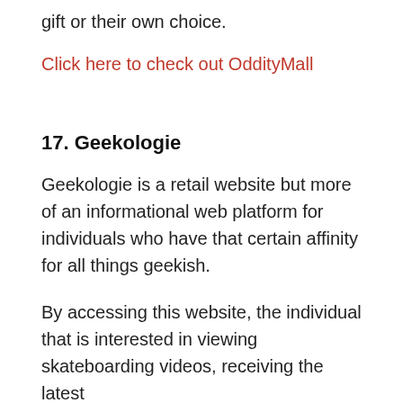gift or their own choice.
Click here to check out OddityMall
17. Geekologie
Geekologie is a retail website but more of an informational web platform for individuals who have that certain affinity for all things geekish.
By accessing this website, the individual that is interested in viewing skateboarding videos, receiving the latest